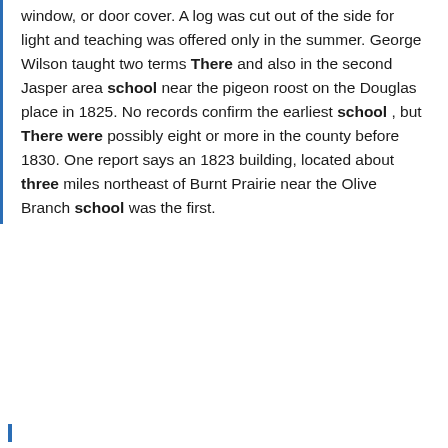window, or door cover. A log was cut out of the side for light and teaching was offered only in the summer. George Wilson taught two terms There and also in the second Jasper area school near the pigeon roost on the Douglas place in 1825. No records confirm the earliest school , but There were possibly eight or more in the county before 1830. One report says an 1823 building, located about three miles northeast of Burnt Prairie near the Olive Branch school was the first.